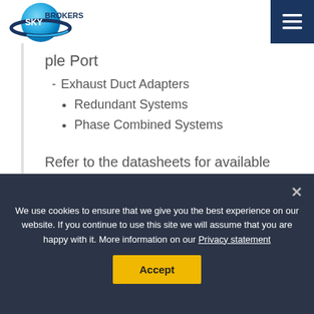Sky Brokers
ple Port
Exhaust Duct Adapters
Redundant Systems
Phase Combined Systems
Refer to the datasheets for available power levels for each package.
We use cookies to ensure that we give you the best experience on our website. If you continue to use this site we will assume that you are happy with it. More information on our Privacy statement